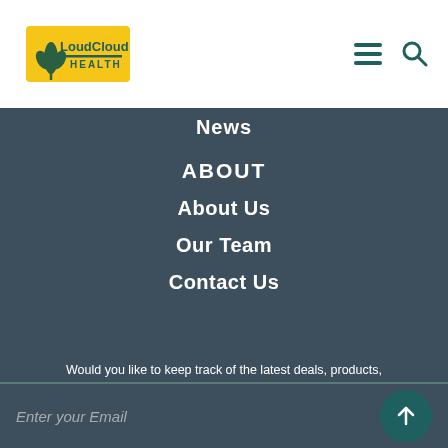[Figure (logo): LoudCloud Health logo with cannabis leaf graphic and yellow background banner]
News
ABOUT
About Us
Our Team
Contact Us
Would you like to keep track of the latest deals, products, and more fun updates? Subscribe to LCH Weekly Newsletter!
Enter your Email